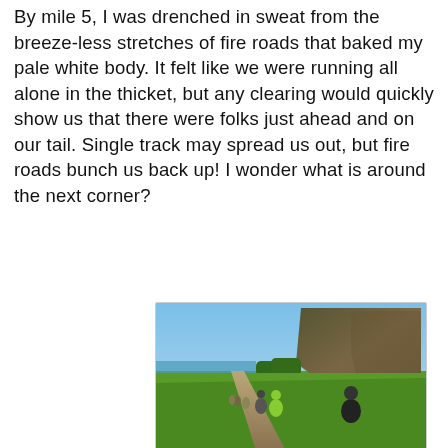By mile 5, I was drenched in sweat from the breeze-less stretches of fire roads that baked my pale white body. It felt like we were running all alone in the thicket, but any clearing would quickly show us that there were folks just ahead and on our tail. Single track may spread us out, but fire roads bunch us back up! I wonder what is around the next corner?
[Figure (photo): Runners on a dirt fire road through green fields with a large dramatic mountain cliff in the background and blue sky. Multiple runners visible with the lead runner in black athletic gear in the foreground.]